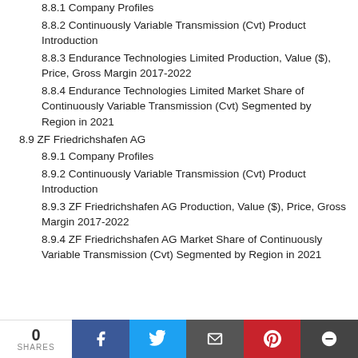8.8.1 Company Profiles
8.8.2 Continuously Variable Transmission (Cvt) Product Introduction
8.8.3 Endurance Technologies Limited Production, Value ($), Price, Gross Margin 2017-2022
8.8.4 Endurance Technologies Limited Market Share of Continuously Variable Transmission (Cvt) Segmented by Region in 2021
8.9 ZF Friedrichshafen AG
8.9.1 Company Profiles
8.9.2 Continuously Variable Transmission (Cvt) Product Introduction
8.9.3 ZF Friedrichshafen AG Production, Value ($), Price, Gross Margin 2017-2022
8.9.4 ZF Friedrichshafen AG Market Share of Continuously Variable Transmission (Cvt) Segmented by Region in 2021
0 SHARES